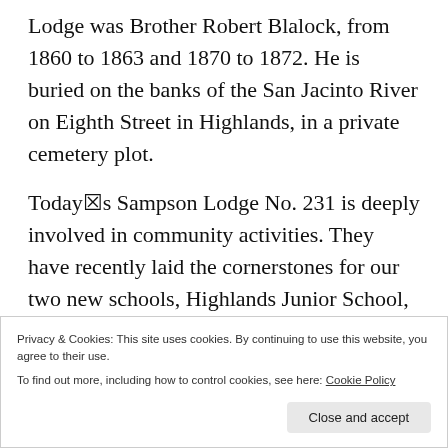Lodge was Brother Robert Blalock, from 1860 to 1863 and 1870 to 1872. He is buried on the banks of the San Jacinto River on Eighth Street in Highlands, in a private cemetery plot.
Today’s Sampson Lodge No. 231 is deeply involved in community activities. They have recently laid the cornerstones for our two new schools, Highlands Junior School, and Goose Creek Memorial High School, and they held a meeting in Burnet Park in Lynchburg on the
Privacy & Cookies: This site uses cookies. By continuing to use this website, you agree to their use.
To find out more, including how to control cookies, see here: Cookie Policy
Close and accept